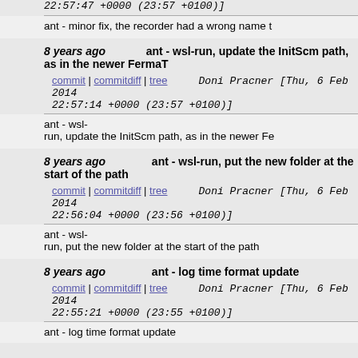22:57:47 +0000 (23:57 +0100)]
ant - minor fix, the recorder had a wrong name t
8 years ago   ant - wsl-run, update the InitScm path, as in the newer FermaT
commit | commitdiff | tree   Doni Pracner [Thu, 6 Feb 2014 22:57:14 +0000 (23:57 +0100)]
ant - wsl-run, update the InitScm path, as in the newer Fe
8 years ago   ant - wsl-run, put the new folder at the start of the path
commit | commitdiff | tree   Doni Pracner [Thu, 6 Feb 2014 22:56:04 +0000 (23:56 +0100)]
ant - wsl-run, put the new folder at the start of the path
8 years ago   ant - log time format update
commit | commitdiff | tree   Doni Pracner [Thu, 6 Feb 2014 22:55:21 +0000 (23:55 +0100)]
ant - log time format update